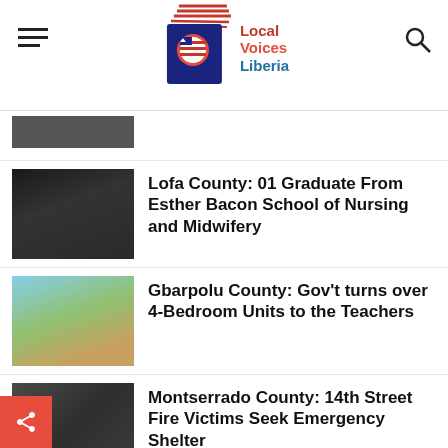Local Voices Liberia
Lofa County: 01 Graduate From Esther Bacon School of Nursing and Midwifery
Gbarpolu County: Gov't turns over 4-Bedroom Units to the Teachers
Montserrado County: 14th Street Fire Victims Seek Emergency Shelter
Grand Bassa County: Several Government Schools in Buchanan Without Seats